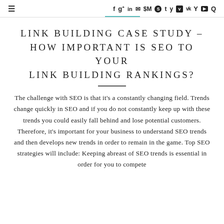≡  f  g+  in  ✉  p  S  t  y  v  vk  Y  ▶  Q
LINK BUILDING CASE STUDY – HOW IMPORTANT IS SEO TO YOUR LINK BUILDING RANKINGS?
The challenge with SEO is that it's a constantly changing field. Trends change quickly in SEO and if you do not constantly keep up with these trends you could easily fall behind and lose potential customers. Therefore, it's important for your business to understand SEO trends and then develops new trends in order to remain in the game. Top SEO strategies will include: Keeping abreast of SEO trends is essential in order for you to compete